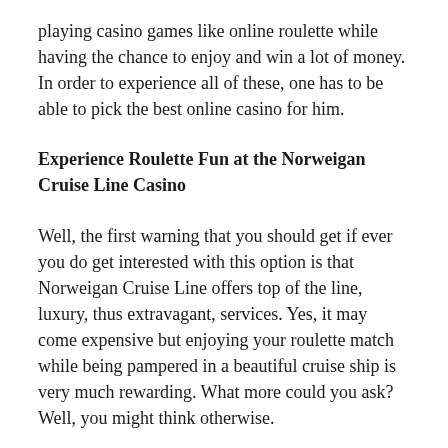playing casino games like online roulette while having the chance to enjoy and win a lot of money. In order to experience all of these, one has to be able to pick the best online casino for him.
Experience Roulette Fun at the Norweigan Cruise Line Casino
Well, the first warning that you should get if ever you do get interested with this option is that Norweigan Cruise Line offers top of the line, luxury, thus extravagant, services. Yes, it may come expensive but enjoying your roulette match while being pampered in a beautiful cruise ship is very much rewarding. What more could you ask? Well, you might think otherwise.
Since the Norwegian Cruise Line Casinos are very big, you will most likely find every game that you